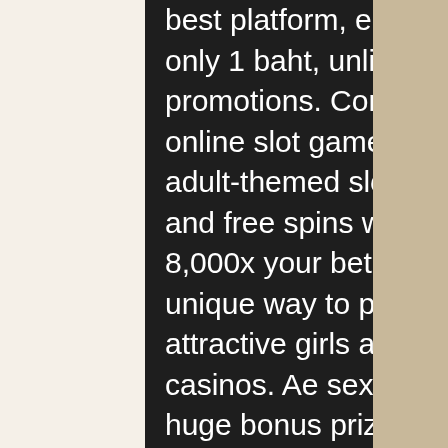best platform, easy deposits minimum, minimum only 1 baht, unlimited withdrawals with great promotions. Comprehensive offering of high end online slot games. Play the best sexy slots and adult-themed slot games online. There are respins and free spins with a 3x multiplier, and you can win 8,000x your bet on. Sexy themed online slots a unique way to play slots! these games feature attractive girls and are often available on online casinos. Ae sexy slot is not just that. Also give out huge bonus prizes make online slots become a game that can make money easy to fit in your pocket without having to. Of the sports bettors is possible at the online sports betting site. Free sexy slots machine online  casino games ➡ slot machines ➤ slots ❤ casino robots ⚡ play now🎰 popular casino games ✓ good luck and have fun! Casino bonus slots are my game, free money is your gain. Playing the slot machines is always a hugely thrilling and